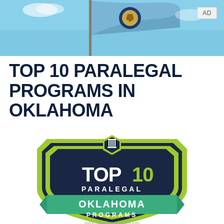[Figure (photo): Oklahoma state flag waving against blue sky]
TOP 10 PARALEGAL PROGRAMS IN OKLAHOMA
[Figure (logo): Badge/shield logo reading TOP 10 PARALEGAL OKLAHOMA PROGRAMS online-paralegal-programs.com]